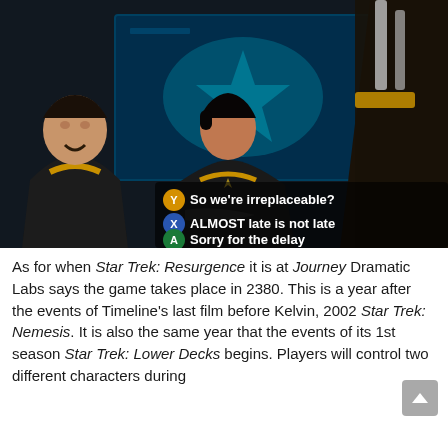[Figure (screenshot): Screenshot from Star Trek: Resurgence video game showing animated characters in Starfleet uniforms on a bridge or command deck. A blue-lit tactical display screen is visible in the background. Three characters are visible — two in the midground facing the viewer with yellow-trimmed dark uniforms, and one on the right side with back to camera holding an object. Overlaid at the bottom are three dialogue choices: Y button (yellow): 'So we're irreplaceable?', X button (blue): 'ALMOST late is not late', A button (green): 'Sorry for the delay'.]
As for when Star Trek: Resurgence it is at Journey Dramatic Labs says the game takes place in 2380. This is a year after the events of Timeline's last film before Kelvin, 2002 Star Trek: Nemesis. It is also the same year that the events of its 1st season Star Trek: Lower Decks begins. Players will control two different characters during